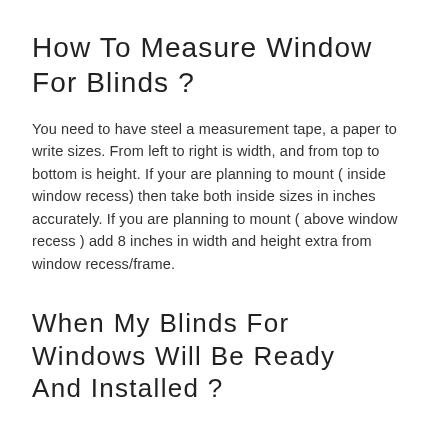How To Measure Window For Blinds ?
You need to have steel a measurement tape, a paper to write sizes. From left to right is width, and from top to bottom is height. If your are planning to mount ( inside window recess) then take both inside sizes in inches accurately. If you are planning to mount ( above window recess ) add 8 inches in width and height extra from window recess/frame.
When My Blinds For Windows Will Be Ready And Installed ?